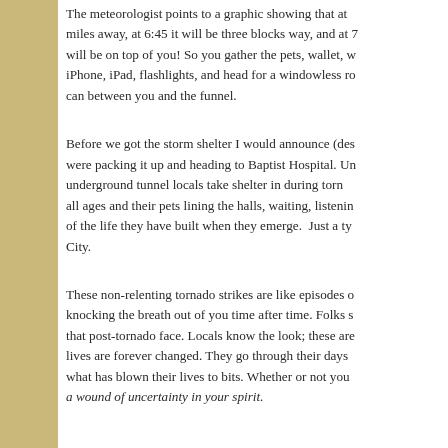The meteorologist points to a graphic showing that at miles away, at 6:45 it will be three blocks way, and at will be on top of you! So you gather the pets, wallet, w iPhone, iPad, flashlights, and head for a windowless ro can between you and the funnel.
Before we got the storm shelter I would announce (des were packing it up and heading to Baptist Hospital. Un underground tunnel locals take shelter in during torn all ages and their pets lining the halls, waiting, listenin of the life they have built when they emerge. Just a ty City.
These non-relenting tornado strikes are like episodes o knocking the breath out of you time after time. Folks s that post-tornado face. Locals know the look; these are lives are forever changed. They go through their days what has blown their lives to bits. Whether or not you a wound of uncertainty in your spirit.